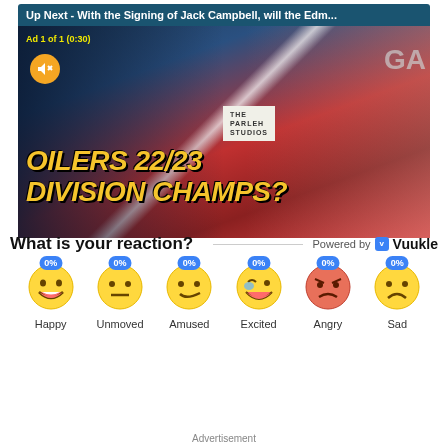[Figure (screenshot): Video player showing 'Up Next - With the Signing of Jack Campbell, will the Edm...' with ad label '1 of 1 (0:30)' and mute button. Video thumbnail shows Edmonton Oilers hockey players with text 'OILERS 22/23 DIVISION CHAMPS?' and 'THE PARLEH STUDIOS' branding. A blonde female presenter is visible on the right side.]
What is your reaction?
Powered by Vuukle
[Figure (infographic): Reaction emoji row with six emojis each showing 0%: Happy (grinning emoji), Unmoved (neutral emoji), Amused (smirk emoji), Excited (laughing/crying emoji), Angry (angry red emoji), Sad (sad emoji)]
Advertisement